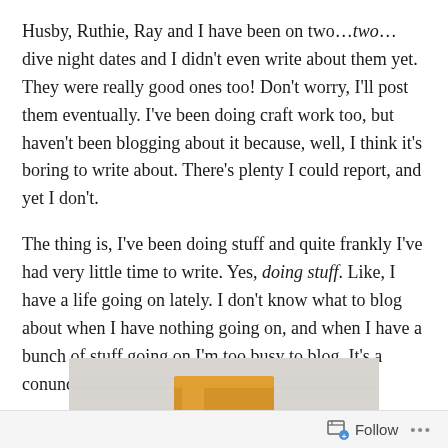Husby, Ruthie, Ray and I have been on two…two…dive night dates and I didn't even write about them yet.  They were really good ones too!  Don't worry, I'll post them eventually.  I've been doing craft work too, but haven't been blogging about it because, well, I think it's boring to write about.  There's plenty I could report, and yet I don't.
The thing is, I've been doing stuff and quite frankly I've had very little time to write.  Yes, doing stuff.  Like, I have a life going on lately.  I don't know what to blog about when I have nothing going on, and when I have a bunch of stuff going on I'm too busy to blog.  It's a conundrum.
[Figure (photo): Partial photo of a yellow/orange rectangular candle on a light grey surface, cropped at the bottom of the page.]
Follow ···